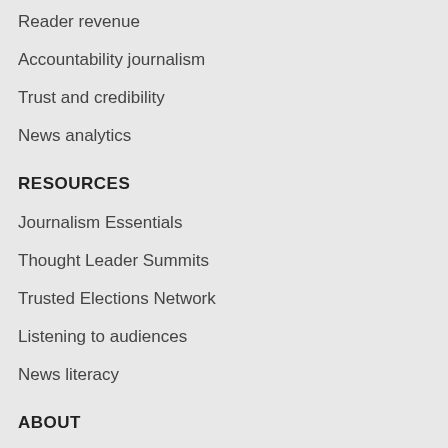Reader revenue
Accountability journalism
Trust and credibility
News analytics
RESOURCES
Journalism Essentials
Thought Leader Summits
Trusted Elections Network
Listening to audiences
News literacy
ABOUT
About us
Who we are